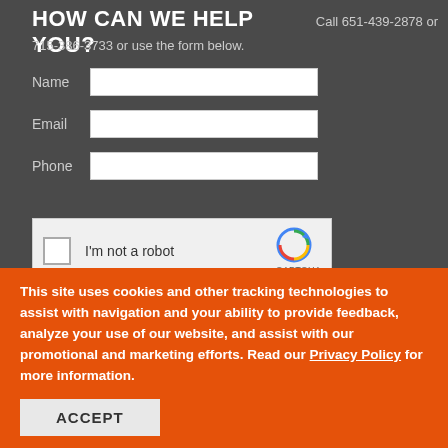HOW CAN WE HELP YOU? Call 651-439-2878 or 715-386-3733 or use the form below.
[Figure (screenshot): Web contact form with Name, Email, and Phone input fields on a dark gray background, followed by a reCAPTCHA 'I'm not a robot' checkbox widget]
This site uses cookies and other tracking technologies to assist with navigation and your ability to provide feedback, analyze your use of our website, and assist with our promotional and marketing efforts. Read our Privacy Policy for more information.
ACCEPT